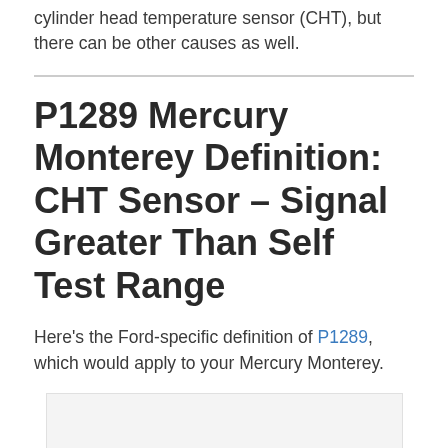cylinder head temperature sensor (CHT), but there can be other causes as well.
P1289 Mercury Monterey Definition: CHT Sensor – Signal Greater Than Self Test Range
Here's the Ford-specific definition of P1289, which would apply to your Mercury Monterey.
[Figure (other): Gray placeholder image box at bottom of page]